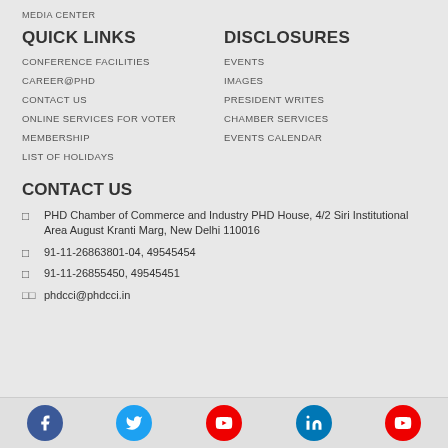MEDIA CENTER
QUICK LINKS
DISCLOSURES
CONFERENCE FACILITIES
EVENTS
CAREER@PHD
IMAGES
CONTACT US
PRESIDENT WRITES
ONLINE SERVICES FOR VOTER
CHAMBER SERVICES
MEMBERSHIP
EVENTS CALENDAR
LIST OF HOLIDAYS
CONTACT US
PHD Chamber of Commerce and Industry PHD House, 4/2 Siri Institutional Area August Kranti Marg, New Delhi 110016
91-11-26863801-04, 49545454
91-11-26855450, 49545451
phdcci@phdcci.in